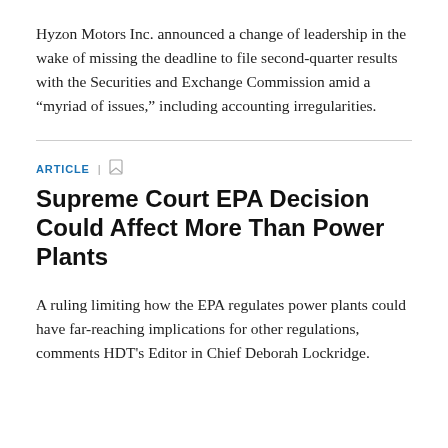Hyzon Motors Inc. announced a change of leadership in the wake of missing the deadline to file second-quarter results with the Securities and Exchange Commission amid a “myriad of issues,” including accounting irregularities.
ARTICLE
Supreme Court EPA Decision Could Affect More Than Power Plants
A ruling limiting how the EPA regulates power plants could have far-reaching implications for other regulations, comments HDT's Editor in Chief Deborah Lockridge.